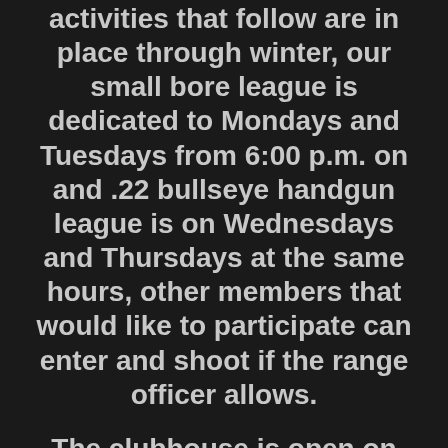activities that follow are in place through winter, our small bore league is dedicated to Mondays and Tuesdays from 6:00 p.m. on and .22 bullseye handgun league is on Wednesdays and Thursdays at the same hours, other members that would like to participate can enter and shoot if the range officer allows.
The clubhouse is open on Fridays for open shooting for members that don't have a key, during the winter league season only from 6:00 p.m.  to closing, approx. 9:00